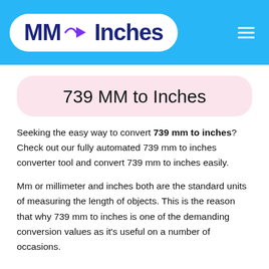MM → Inches
739 MM to Inches
Seeking the easy way to convert 739 mm to inches? Check out our fully automated 739 mm to inches converter tool and convert 739 mm to inches easily.
Mm or millimeter and inches both are the standard units of measuring the length of objects. This is the reason that why 739 mm to inches is one of the demanding conversion values as it's useful on a number of occasions.